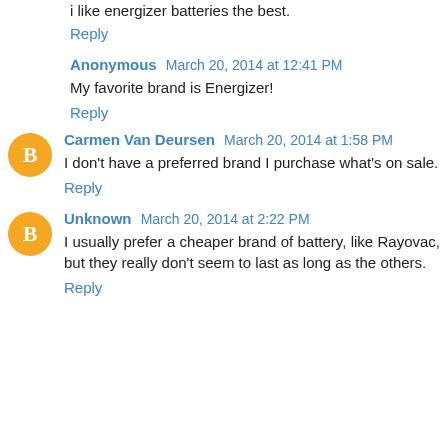i like energizer batteries the best.
Reply
Anonymous March 20, 2014 at 12:41 PM
My favorite brand is Energizer!
Reply
Carmen Van Deursen March 20, 2014 at 1:58 PM
I don't have a preferred brand I purchase what's on sale.
Reply
Unknown March 20, 2014 at 2:22 PM
I usually prefer a cheaper brand of battery, like Rayovac, but they really don't seem to last as long as the others.
Reply